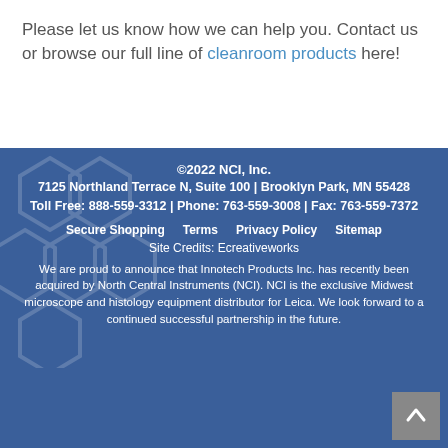Please let us know how we can help you. Contact us or browse our full line of cleanroom products here!
©2022 NCI, Inc.
7125 Northland Terrace N, Suite 100 | Brooklyn Park, MN 55428
Toll Free: 888-559-3312 | Phone: 763-559-3008 | Fax: 763-559-7372
Secure Shopping | Terms | Privacy Policy | Sitemap
Site Credits: Ecreativeworks
We are proud to announce that Innotech Products Inc. has recently been acquired by North Central Instruments (NCI). NCI is the exclusive Midwest microscope and histology equipment distributor for Leica. We look forward to a continued successful partnership in the future.